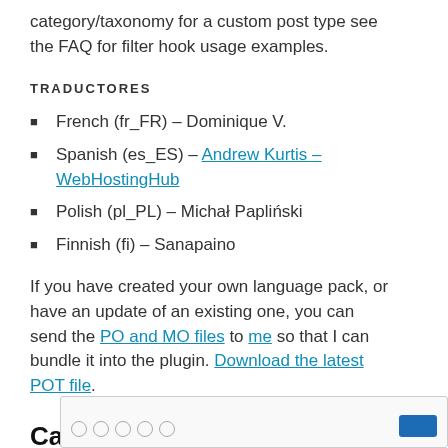category/taxonomy for a custom post type see the FAQ for filter hook usage examples.
TRADUCTORES
French (fr_FR) – Dominique V.
Spanish (es_ES) – Andrew Kurtis – WebHostingHub
Polish (pl_PL) – Michał Papliński
Finnish (fi) – Sanapaino
If you have created your own language pack, or have an update of an existing one, you can send the PO and MO files to me so that I can bundle it into the plugin. Download the latest POT file.
Capturas de pantalla
[Figure (screenshot): Screenshot of a plugin settings or interface area, partially visible at the bottom of the page.]